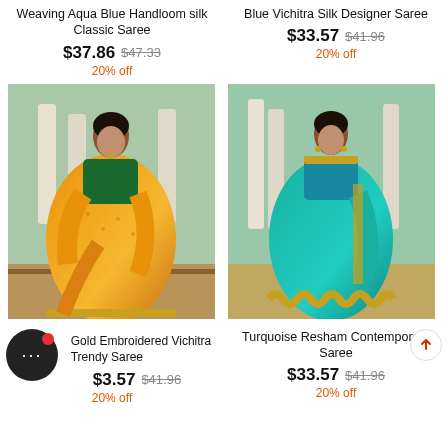Weaving Aqua Blue Handloom silk Classic Saree
$37.86  $47.33  20% off
Blue Vichitra Silk Designer Saree
$33.57  $41.96  20% off
[Figure (photo): Woman wearing orange/yellow Handloom silk saree with green blouse, outdoor setting with columns]
[Figure (photo): Woman wearing teal/turquoise Vichitra silk saree with embroidered border, outdoor setting]
Gold Embroidered Vichitra Trendy Saree
$33.57  $41.96  20% off
Turquoise Resham Contemporary Saree
$33.57  $41.96  20% off